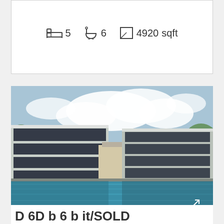5 bedrooms  6 bathrooms  4920 sqft
[Figure (photo): Exterior photo of a modern condominium complex with large swimming pool in foreground, multi-storey white building with large windows, blue sky with clouds]
D••• 6D b••• 6 b••• •••••••••it/SOLD